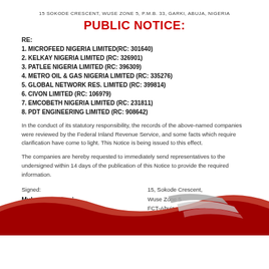15 SOKODE CRESCENT, WUSE ZONE 5, P.M.B. 33, GARKI, ABUJA, NIGERIA
PUBLIC NOTICE:
RE:
1. MICROFEED NIGERIA LIMITED(RC: 301640)
2. KELKAY NIGERIA LIMITED (RC: 326901)
3. PATLEE NIGERIA LIMITED (RC: 396309)
4. METRO OIL & GAS NIGERIA LIMITED (RC: 335276)
5. GLOBAL NETWORK RES. LIMITED (RC: 399814)
6. CIVON LIMITED (RC: 106979)
7. EMCOBETH NIGERIA LIMITED (RC: 231811)
8. PDT ENGINEERING LIMITED (RC: 908642)
In the conduct of its statutory responsibility, the records of the above-named companies were reviewed by the Federal Inland Revenue Service, and some facts which require clarification have come to light. This Notice is being issued to this effect.
The companies are hereby requested to immediately send representatives to the undersigned within 14 days of the publication of this Notice to provide the required information.
Signed:
Muhammad Nami
Executive Chairman
Federal Inland Revenue Service
15, Sokode Crescent,
Wuse Zone 5
FCT-Abuja,
Email: enforcementsupport@firs.gov.ng
[Figure (illustration): Red and grey decorative banner with wavy stripes at the bottom of the document]